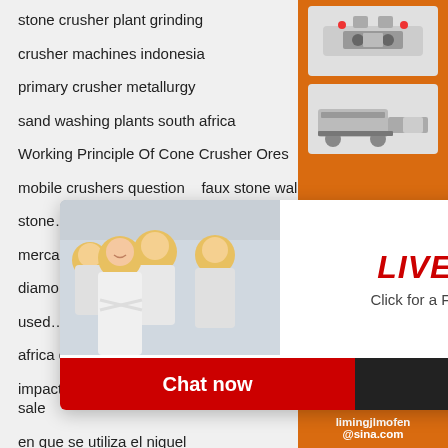stone crusher plant grinding
crusher machines indonesia
primary crusher metallurgy
sand washing plants south africa
Working Principle Of Cone Crusher Ores
mobile crushers question   faux stone wall inte…
stone…
merca…
diamo…
used…
africa quarry and mining
impact crusher costs and specifications crusher for sale
en que se utiliza el niquel
project report on stone crusher plant in saudi …
lack of mining crushing equipment in zimbabwe
[Figure (screenshot): Live chat popup overlay with photo of workers in hard hats, bold red LIVE CHAT text, 'Click for a Free Consultation', red 'Chat now' and dark 'Chat later' buttons, and a close (X) button]
[Figure (screenshot): Orange sidebar with mining machinery images, yellow 'Enjoy 3% discount' and 'Click to Chat' bars, Enquiry section, and limingjlmofen@sina.com email]